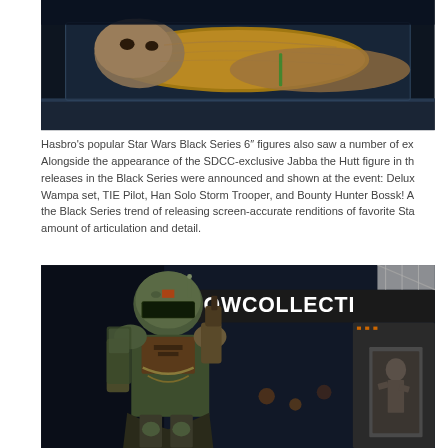[Figure (photo): Close-up photo of the SDCC-exclusive Jabba the Hutt figure in its packaging, displayed against a dark background. The figure shows Jabba's large slug-like body in a clear plastic case/blister pack.]
Hasbro's popular Star Wars Black Series 6" figures also saw a number of ex... Alongside the appearance of the SDCC-exclusive Jabba the Hutt figure in th... releases in the Black Series were announced and shown at the event: Delux... Wampa set, TIE Pilot, Han Solo Storm Trooper, and Bounty Hunter Bossk! A... the Black Series trend of releasing screen-accurate renditions of favorite Sta... amount of articulation and detail.
[Figure (photo): Photo of a large Boba Fett statue/figure in full armor standing in front of a 'SHOWCOLLECTIBLES' branded display at what appears to be a convention. Han Solo in carbonite is visible to the right in the background.]